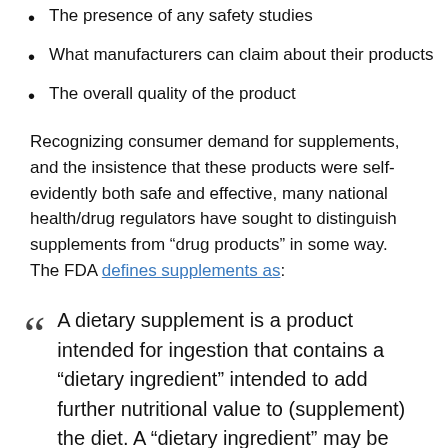The presence of any safety studies
What manufacturers can claim about their products
The overall quality of the product
Recognizing consumer demand for supplements, and the insistence that these products were self-evidently both safe and effective, many national health/drug regulators have sought to distinguish supplements from “drug products” in some way. The FDA defines supplements as:
A dietary supplement is a product intended for ingestion that contains a “dietary ingredient” intended to add further nutritional value to (supplement) the diet. A “dietary ingredient” may be one, or any combination, of the following